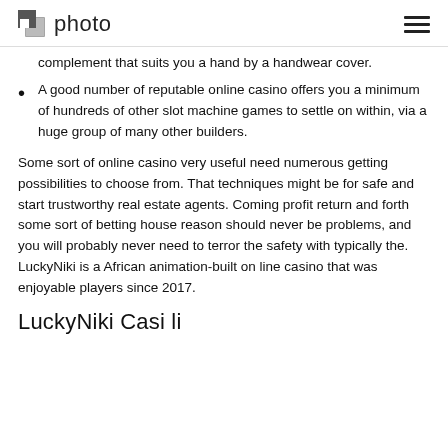photo
complement that suits you a hand by a handwear cover.
A good number of reputable online casino offers you a minimum of hundreds of other slot machine games to settle on within, via a huge group of many other builders.
Some sort of online casino very useful need numerous getting possibilities to choose from. That techniques might be for safe and start trustworthy real estate agents. Coming profit return and forth some sort of betting house reason should never be problems, and you will probably never need to terror the safety with typically the. LuckyNiki is a African animation-built on line casino that was enjoyable players since 2017.
LuckyNiki Casi li